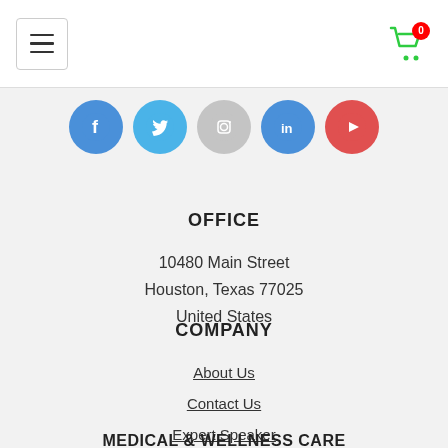Navigation header with hamburger menu and cart icon (0 items)
[Figure (illustration): Row of 5 social media icons: Facebook (blue circle, f), Twitter (blue circle, bird), Instagram (grey circle, camera), LinkedIn (blue circle, in), YouTube (red circle, play button)]
OFFICE
10480 Main Street
Houston, Texas 77025
United States
COMPANY
About Us
Contact Us
Expert Speaker
MEDICAL & WELLNESS CARE